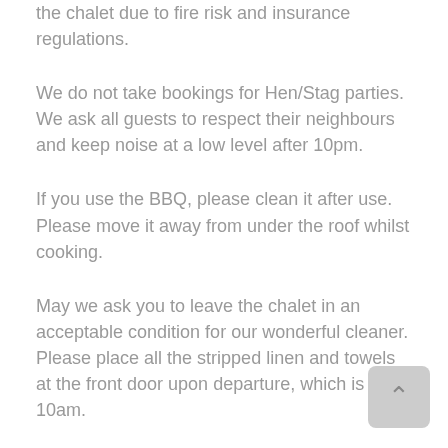the chalet due to fire risk and insurance regulations.
We do not take bookings for Hen/Stag parties. We ask all guests to respect their neighbours and keep noise at a low level after 10pm.
If you use the BBQ, please clean it after use. Please move it away from under the roof whilst cooking.
May we ask you to leave the chalet in an acceptable condition for our wonderful cleaner. Please place all the stripped linen and towels at the front door upon departure, which is 10am.